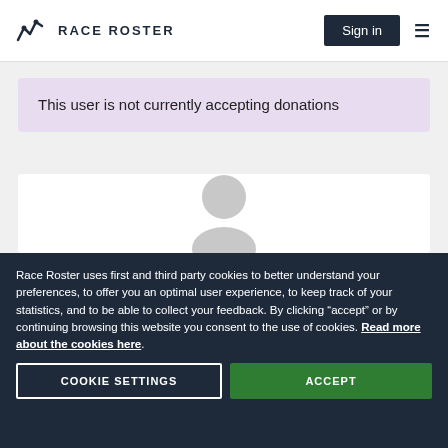RACE ROSTER
This user is not currently accepting donations
[Figure (illustration): Generic user profile avatar icon (gray silhouette of a person)]
Race Roster uses first and third party cookies to better understand your preferences, to offer you an optimal user experience, to keep track of your statistics, and to be able to collect your feedback. By clicking “accept” or by continuing browsing this website you consent to the use of cookies. Read more about the cookies here.
COOKIE SETTINGS
ACCEPT